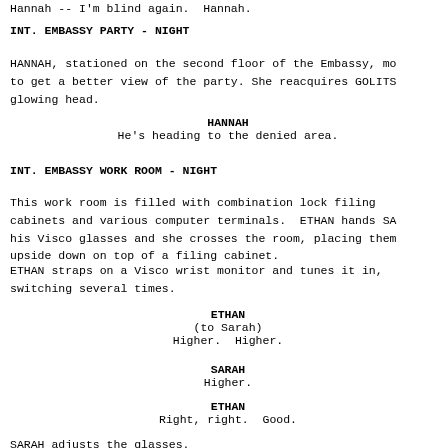Hannah -- I'm blind again.  Hannah.
INT. EMBASSY PARTY - NIGHT
HANNAH, stationed on the second floor of the Embassy, mo to get a better view of the party. She reacquires GOLITS glowing head.
HANNAH
He's heading to the denied area.
INT. EMBASSY WORK ROOM - NIGHT
This work room is filled with combination lock filing cabinets and various computer terminals.  ETHAN hands SA his Visco glasses and she crosses the room, placing them upside down on top of a filing cabinet.
ETHAN straps on a Visco wrist monitor and tunes it in, switching several times.
ETHAN
(to Sarah)
Higher.  Higher.
SARAH
Higher.
ETHAN
Right, right.  Good.
SARAH adjusts the glasses.